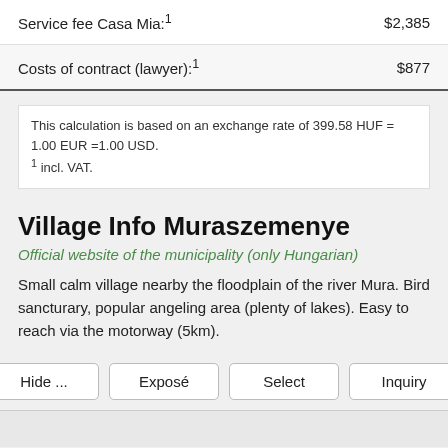| Description | Amount |
| --- | --- |
| Service fee Casa Mia:¹ | $2,385 |
| Costs of contract (lawyer):¹ | $877 |
This calculation is based on an exchange rate of 399.58 HUF = 1.00 EUR =1.00 USD.
¹ incl. VAT.
Village Info Muraszemenye
Official website of the municipality (only Hungarian)
Small calm village nearby the floodplan of the river Mura. Bird sancturary, popular angeling area (plenty of lakes). Easy to reach via the motorway (5km).
Hide ...
Exposé
Select
Inquiry